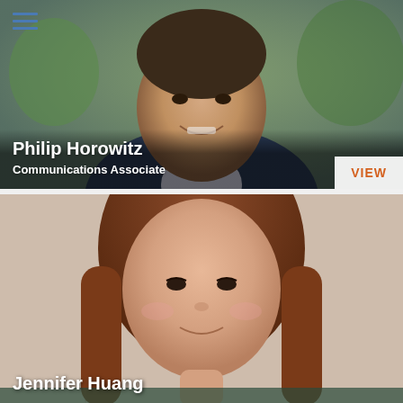[Figure (photo): Headshot photo of Philip Horowitz, a young man in a suit, smiling outdoors with greenery in background]
Philip Horowitz
Communications Associate
VIEW
[Figure (photo): Headshot photo of Jennifer Huang, a young woman with long auburn hair, smiling]
Jennifer Huang